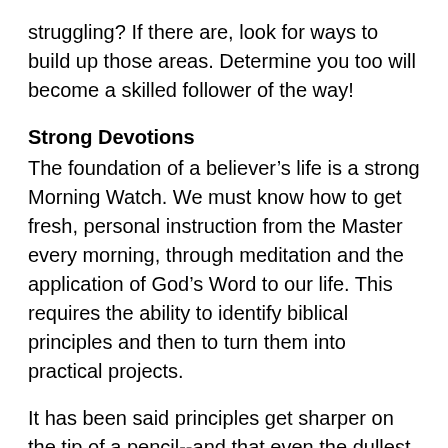struggling? If there are, look for ways to build up those areas. Determine you too will become a skilled follower of the way!
Strong Devotions
The foundation of a believer’s life is a strong Morning Watch. We must know how to get fresh, personal instruction from the Master every morning, through meditation and the application of God’s Word to our life. This requires the ability to identify biblical principles and then to turn them into practical projects.
It has been said principles get sharper on the tip of a pencil--and that even the dullest pencil has a sharper memory than you or me. This suggests there is benefit in taking some time to write down what God teaches you each morning. We